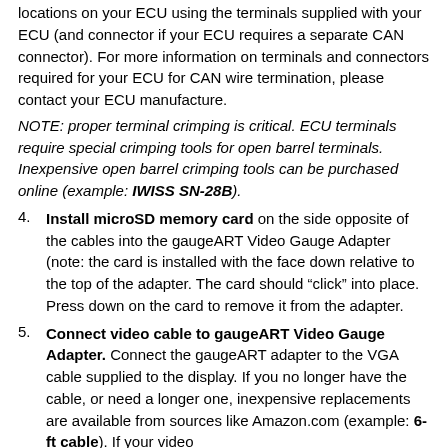locations on your ECU using the terminals supplied with your ECU (and connector if your ECU requires a separate CAN connector). For more information on terminals and connectors required for your ECU for CAN wire termination, please contact your ECU manufacture.
NOTE: proper terminal crimping is critical. ECU terminals require special crimping tools for open barrel terminals. Inexpensive open barrel crimping tools can be purchased online (example: IWISS SN-28B).
4. Install microSD memory card on the side opposite of the cables into the gaugeART Video Gauge Adapter (note: the card is installed with the face down relative to the top of the adapter. The card should “click” into place. Press down on the card to remove it from the adapter.
5. Connect video cable to gaugeART Video Gauge Adapter. Connect the gaugeART adapter to the VGA cable supplied to the display. If you no longer have the cable, or need a longer one, inexpensive replacements are available from sources like Amazon.com (example: 6-ft cable). If your video